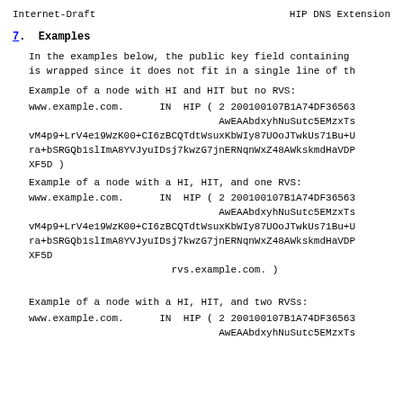Internet-Draft                    HIP DNS Extension
7.  Examples
In the examples below, the public key field containing
is wrapped since it does not fit in a single line of th
Example of a node with HI and HIT but no RVS:
www.example.com.      IN  HIP ( 2 200100107B1A74DF36563
                                AwEAAbdxyhNuSutc5EMzxTs
vM4p9+LrV4e19WzK00+CI6zBCQTdtWsuxKbWIy87UOoJTwkUs71Bu+U
ra+bSRGQb1slImA8YVJyuIDsj7kwzG7jnERNqnWxZ48AWkskmdHaVDP
XF5D )
Example of a node with a HI, HIT, and one RVS:
www.example.com.      IN  HIP ( 2 200100107B1A74DF36563
                                AwEAAbdxyhNuSutc5EMzxTs
vM4p9+LrV4e19WzK00+CI6zBCQTdtWsuxKbWIy87UOoJTwkUs71Bu+U
ra+bSRGQb1slImA8YVJyuIDsj7kwzG7jnERNqnWxZ48AWkskmdHaVDP
XF5D
                        rvs.example.com. )
Example of a node with a HI, HIT, and two RVSs:
www.example.com.      IN  HIP ( 2 200100107B1A74DF36563
                                AwEAAbdxyhNuSutc5EMzxTs